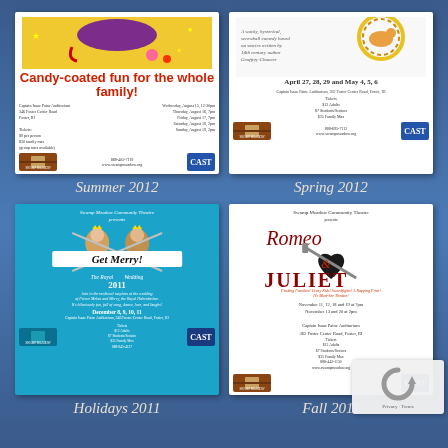[Figure (illustration): Summer 2012 theater poster for Swamp Meadow Community Theatre - candy themed show with colorful design]
Summer 2012
[Figure (illustration): Spring 2012 theater poster for Swamp Meadow Community Theatre - circus themed show, April 27, 28, 29 and May 4, 5, 6]
Spring 2012
[Figure (illustration): Holidays 2011 theater poster for Get Merry! The Royal Wedding - December 8, 9, 10, 11]
Holidays 2011
[Figure (illustration): Fall 2011 theater poster for Romeo & Juliet - November 11, 12, 18 and 19 at 7pm, November 13 and 20 at 2pm]
Fall 2011